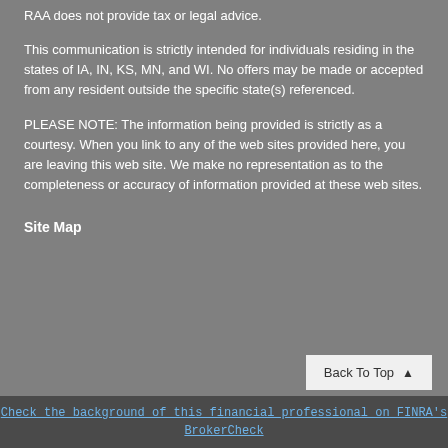RAA does not provide tax or legal advice.
This communication is strictly intended for individuals residing in the states of IA, IN, KS, MN, and WI. No offers may be made or accepted from any resident outside the specific state(s) referenced.
PLEASE NOTE: The information being provided is strictly as a courtesy. When you link to any of the web sites provided here, you are leaving this web site. We make no representation as to the completeness or accuracy of information provided at these web sites.
Site Map
Check the background of this financial professional on FINRA's BrokerCheck